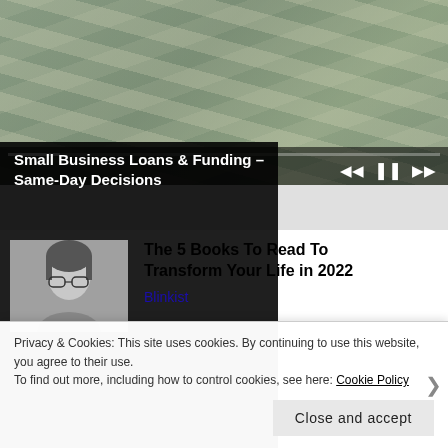[Figure (photo): Video player showing stacks of US dollar bills/cash. Media controls visible at bottom with progress bar and skip/pause/forward buttons.]
Small Business Loans & Funding – Same-Day Decisions
[Figure (photo): Black and white thumbnail photo of a person wearing glasses, appears to be an author or book-related image.]
The 5 Books To Read To Transform Your Life in 2022
Blinkist
Privacy & Cookies: This site uses cookies. By continuing to use this website, you agree to their use.
To find out more, including how to control cookies, see here: Cookie Policy